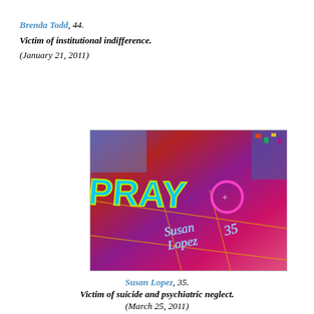Brenda Todd, 44.
Victim of institutional indifference.
(January 21, 2011)
[Figure (photo): Colorful chalk art or graffiti on the ground reading 'PRAY' with 'Susan Lopez 35' written in cursive script, with a pink heart and cross symbol visible, on a red/purple decorated surface.]
Susan Lopez, 35.
Victim of suicide and psychiatric neglect.
(March 25, 2011)